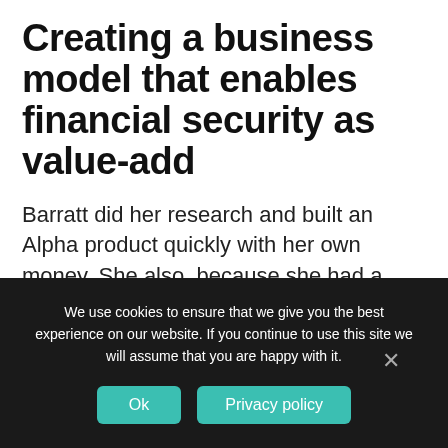Creating a business model that enables financial security as value-add
Barratt did her research and built an Alpha product quickly with her own money. She also, because she had a 'base of security,' was able to get to the Beta phase with her own money. With the product in soft-launch, she had everything but the trading piece in pace.
We use cookies to ensure that we give you the best experience on our website. If you continue to use this site we will assume that you are happy with it.